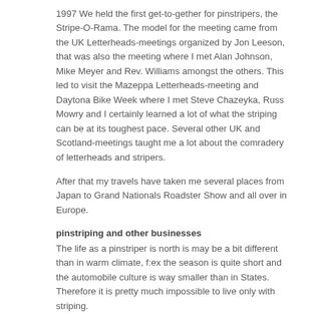1997 We held the first get-to-gether for pinstripers, the Stripe-O-Rama. The model for the meeting came from the UK Letterheads-meetings organized by Jon Leeson, that was also the meeting where I met Alan Johnson, Mike Meyer and Rev. Williams amongst the others. This led to visit the Mazeppa Letterheads-meeting and Daytona Bike Week where I met Steve Chazeyka, Russ Mowry and I certainly learned a lot of what the striping can be at its toughest pace. Several other UK and Scotland-meetings taught me a lot about the comradery of letterheads and stripers.
After that my travels have taken me several places from Japan to Grand Nationals Roadster Show and all over in Europe.
pinstriping and other businesses
The life as a pinstriper is north is may be a bit different than in warm climate, f:ex the season is quite short and the automobile culture is way smaller than in States. Therefore it is pretty much impossible to live only with striping.
I am also working as an industrial designer and design teacher, which gives me the income to fill